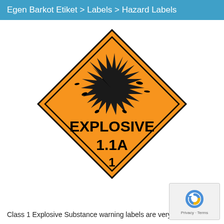Egen Barkot Etiket > Labels > Hazard Labels
[Figure (illustration): Orange diamond-shaped hazard label with explosion burst symbol and text reading EXPLOSIVE 1.1A 1]
Class 1 Explosive Substance warning labels are very